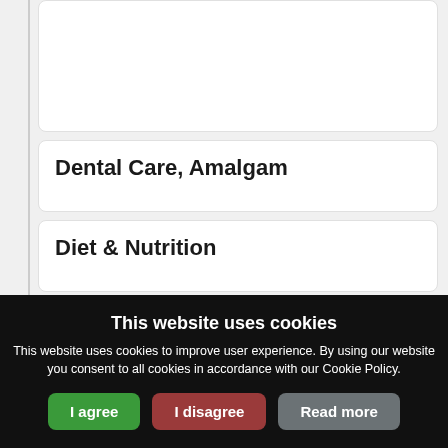Dental Care, Amalgam
Diet & Nutrition
Dogma
Dogma (truncated)
This website uses cookies
This website uses cookies to improve user experience. By using our website you consent to all cookies in accordance with our Cookie Policy.
I agree | I disagree | Read more